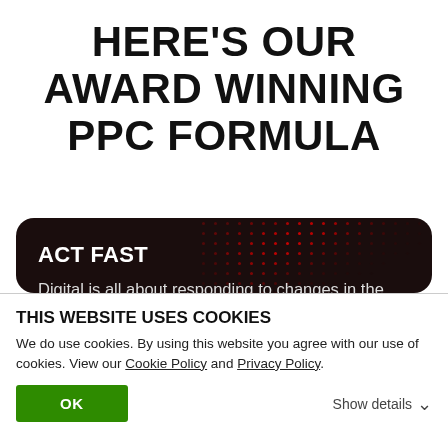HERE'S OUR AWARD WINNING PPC FORMULA
[Figure (screenshot): Dark rounded card with red dot pattern in top right corner. Contains heading 'ACT FAST' and body text about digital marketing and in-house technology.]
THIS WEBSITE USES COOKIES
We do use cookies. By using this website you agree with our use of cookies. View our Cookie Policy and Privacy Policy.
OK
Show details